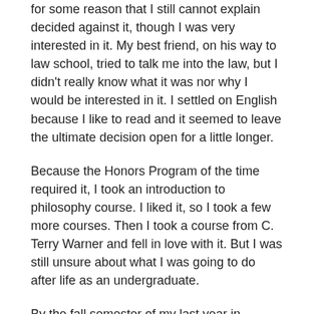for some reason that I still cannot explain decided against it, though I was very interested in it. My best friend, on his way to law school, tried to talk me into the law, but I didn't really know what it was nor why I would be interested in it. I settled on English because I like to read and it seemed to leave the ultimate decision open for a little longer.
Because the Honors Program of the time required it, I took an introduction to philosophy course. I liked it, so I took a few more courses. Then I took a course from C. Terry Warner and fell in love with it. But I was still unsure about what I was going to do after life as an undergraduate.
By the fall semester of my last year in school, I still didn't know what to do. I was married and we had a child. Janice had her Master's degree, and I had no clue what to do after graduating. (We were unequally yoked then, and we still are.) Terry kept urging me to go to graduate school in philosophy, but I was afraid to do so. Because of something less than a sterling record during the three semesters before my mission, my grade point average